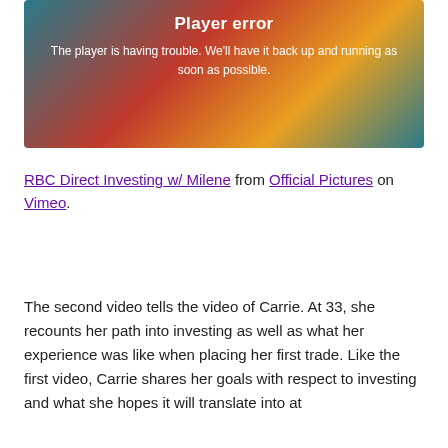[Figure (screenshot): Video player error screen with colorful illustrated background (teal, red, orange swirls and question marks). Shows bold white text 'Player error' and message 'The player is having trouble. We'll have it back up and running as soon as possible.']
RBC Direct Investing w/ Milene from Official Pictures on Vimeo.
The second video tells the video of Carrie. At 33, she recounts her path into investing as well as what her experience was like when placing her first trade. Like the first video, Carrie shares her goals with respect to investing and what she hopes it will translate into at